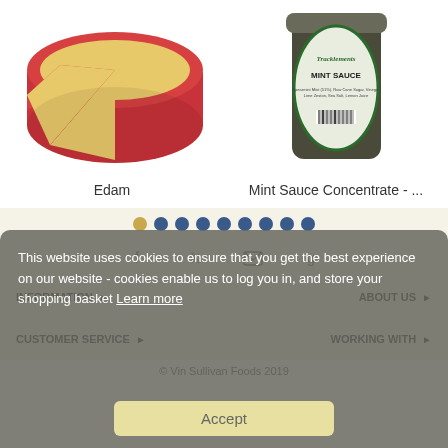[Figure (photo): Photo of Edam cheese wheel with a wedge cut out, showing yellow interior and red wax rind]
[Figure (photo): Photo of a glass jar of Tracklements Mint Sauce Concentrate with green label]
Edam
Mint Sauce Concentrate - ...
[Figure (other): Carousel navigation dots: one gold dot followed by eight dark blue dots]
[Figure (other): Social media icons: Facebook, Twitter, Email/Envelope, Google]
INFORMATION ▶
ABOUT US ▶
CUSTOMER SERVICE ▶
WORKING WITH ▶
This website uses cookies to ensure that you get the best experience on our website - cookies enable us to log you in, and store your shopping basket Learn more
Accept
© Vin Sullivan Foods 2019